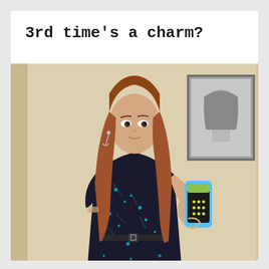3rd time's a charm?
[Figure (photo): A woman with long auburn hair taking a mirror selfie in what appears to be a fitting room. She is wearing a dark patterned dress with cyan/teal floral or abstract print and a thin black belt at the waist. She holds a blue iPhone case. A framed picture is visible on the wall behind her in the mirror reflection.]